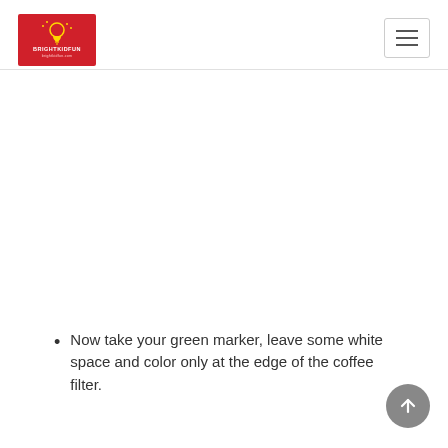BRIGHTKIDFUN
Now take your green marker, leave some white space and color only at the edge of the coffee filter.